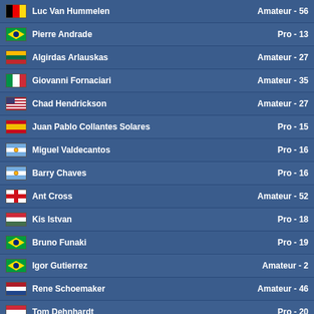| Flag | Name | Category - Rank |
| --- | --- | --- |
| BE | Luc Van Hummelen | Amateur - 56 |
| BR | Pierre Andrade | Pro - 13 |
| LT | Algirdas Arlauskas | Amateur - 27 |
| IT | Giovanni Fornaciari | Amateur - 35 |
| US | Chad Hendrickson | Amateur - 27 |
| ES | Juan Pablo Collantes Solares | Pro - 15 |
| AR | Miguel Valdecantos | Pro - 16 |
| AR | Barry Chaves | Pro - 16 |
| EN | Ant Cross | Amateur - 52 |
| HU | Kis Istvan | Pro - 18 |
| BR | Bruno Funaki | Pro - 19 |
| BR | Igor Gutierrez | Amateur - 2 |
| NL | Rene Schoemaker | Amateur - 46 |
| HU | Tom Dehnhardt | Pro - 20 |
| AR | Gustavo Daniel Ruffa | Amateur - 21 |
| BR | Fabio Temeroso | Pro - 20 |
Seite [1] 2 3 ... 110 111 112 »
This website uses cookies to ensure you get the best experience. More info
© Grand Prix Racing O
Nutzungsbedingungen